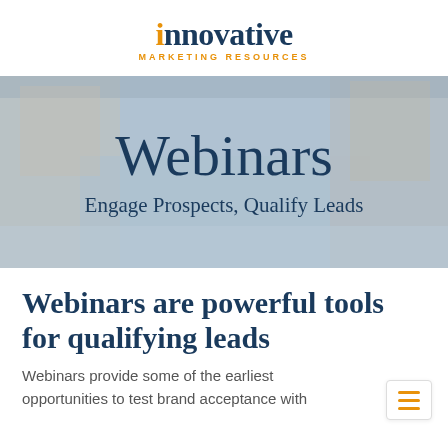[Figure (logo): Innovative Marketing Resources logo: 'innovative' in dark navy serif font with orange dot over the 'i', and 'MARKETING RESOURCES' in orange small caps below]
[Figure (photo): Hero banner image with blurred urban/waterfront background, overlaid with teal/navy text 'Webinars' in large serif font and subtitle 'Engage Prospects, Qualify Leads']
Webinars
Engage Prospects, Qualify Leads
Webinars are powerful tools for qualifying leads
Webinars provide some of the earliest opportunities to test brand acceptance with